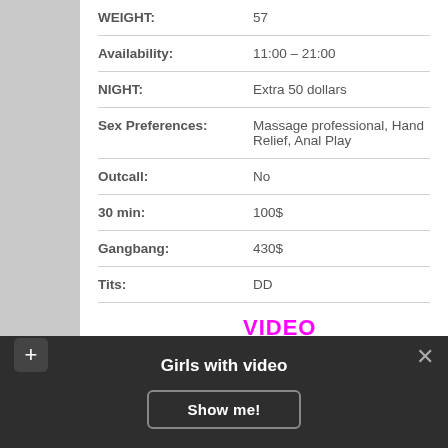| Field | Value |
| --- | --- |
| WEIGHT: | 57 |
| Availability: | 11:00 – 21:00 |
| NIGHT: | Extra 50 dollars |
| Sex Preferences: | Massage professional, Hand Relief, Anal Play |
| Outcall: | No |
| 30 min: | 100$ |
| Gangbang: | 430$ |
| Tits: | DD |
VIDEO
Girls with video
Show me!